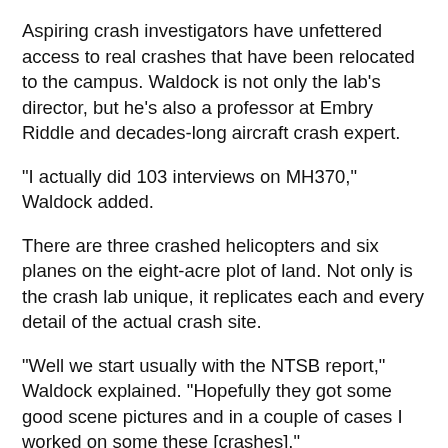Aspiring crash investigators have unfettered access to real crashes that have been relocated to the campus. Waldock is not only the lab's director, but he's also a professor at Embry Riddle and decades-long aircraft crash expert.
"I actually did 103 interviews on MH370," Waldock added.
There are three crashed helicopters and six planes on the eight-acre plot of land. Not only is the crash lab unique, it replicates each and every detail of the actual crash site.
"Well we start usually with the NTSB report," Waldock explained. "Hopefully they got some good scene pictures and in a couple of cases I worked on some these [crashes]."
Only Waldock knows the true story behind what brought them down. He changes details to challenge his students
"I was in the Marine Corps and my background was helicopters so I just fell in love with aviation," said Eleazar Nepomuceno, a graduate student and the crash lab's